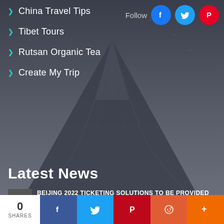China Travel Tips
Tibet Tours
Rutsan Organic Tea
Create My Trip
Latest News
BEIJING 2022 TICKETING SOLUTIONS TO BE PROVIDED BY ALIBABA GROUP
0 SHARES [Facebook] [Twitter] [Pinterest] [Reddit] [More]